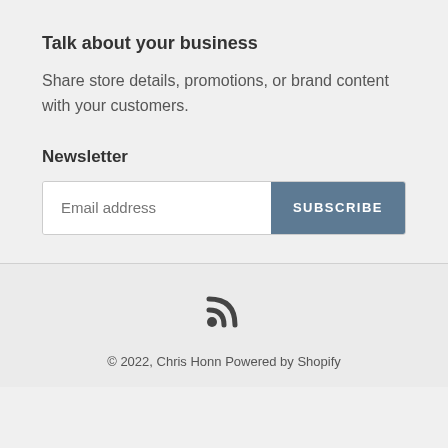Talk about your business
Share store details, promotions, or brand content with your customers.
Newsletter
Email address
SUBSCRIBE
[Figure (illustration): RSS feed icon]
© 2022, Chris Honn Powered by Shopify